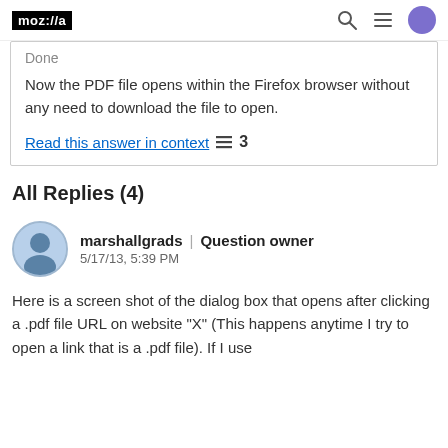moz://a
Done

Now the PDF file opens within the Firefox browser without any need to download the file to open.

Read this answer in context 3
All Replies (4)
marshallgrads | Question owner
5/17/13, 5:39 PM
Here is a screen shot of the dialog box that opens after clicking a .pdf file URL on website "X" (This happens anytime I try to open a link that is a .pdf file). If I use